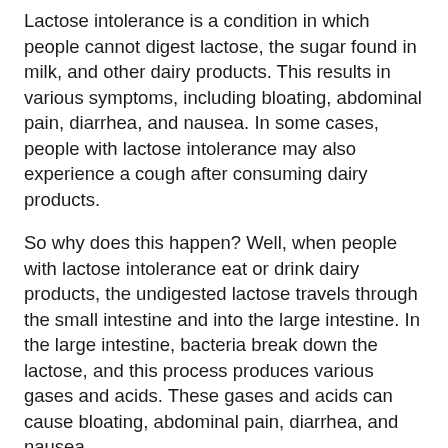Lactose intolerance is a condition in which people cannot digest lactose, the sugar found in milk, and other dairy products. This results in various symptoms, including bloating, abdominal pain, diarrhea, and nausea. In some cases, people with lactose intolerance may also experience a cough after consuming dairy products.
So why does this happen? Well, when people with lactose intolerance eat or drink dairy products, the undigested lactose travels through the small intestine and into the large intestine. In the large intestine, bacteria break down the lactose, and this process produces various gases and acids. These gases and acids can cause bloating, abdominal pain, diarrhea, and nausea.
In some cases, they can also lead to a cough. When these gases and acids are produced in the large intestine, they can sometimes rise